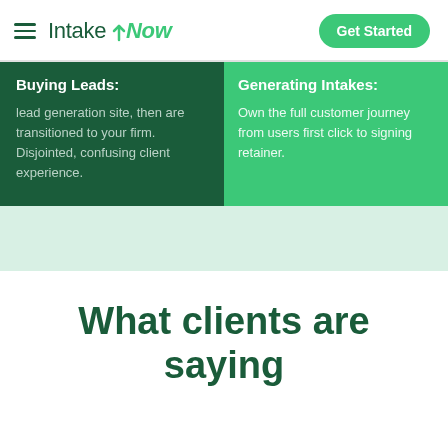IntakeNow — Get Started
Buying Leads:
lead generation site, then are transitioned to your firm. Disjointed, confusing client experience.
Generating Intakes:
Own the full customer journey from users first click to signing retainer.
What clients are saying